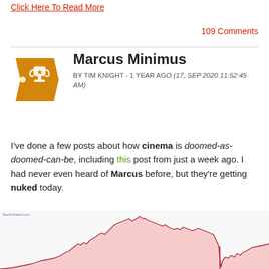Click Here To Read More
109 Comments
Marcus Minimus
BY TIM KNIGHT - 1 YEAR AGO (17, SEP 2020 11:52:45 AM)
I've done a few posts about how cinema is doomed-as-doomed-can-be, including this post from just a week ago. I had never even heard of Marcus before, but they're getting nuked today.
[Figure (continuous-plot): Stock chart showing a price history with a large pink/red shaded area-fill curve. The price rises to a peak and then falls sharply, with a near-vertical drop visible at the right side of the chart.]